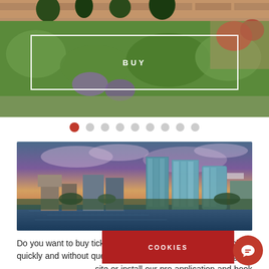[Figure (photo): Aerial or ground-level view of a fortress/garden with brick walls, trees, flowers including red roses and purple flowers, green vegetation]
[Figure (other): BUY button with white border overlay on top image]
[Figure (other): Pagination dots row: 9 dots with first dot active (red), rest grey]
[Figure (photo): City skyline with modern glass skyscrapers reflected in a river/lake, dramatic colorful sky with clouds at dusk]
Do you want to buy tickets for the Moscow-Yekaterinburg plane quickly and without queuing? All you need to do this is to go to site or install our pro application and book an air ticket at an affordable co
[Figure (other): Red COOKIES banner/button overlay]
[Figure (other): Red circular chat bubble button with speech icon]